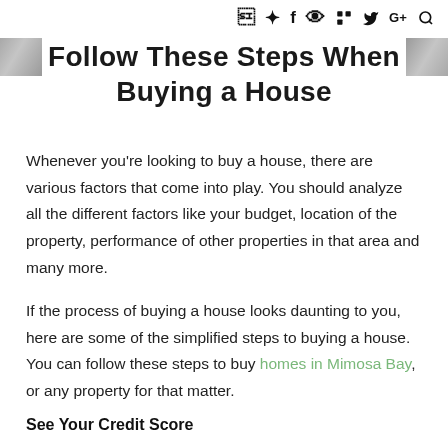f  ✦  G+  🔍
Follow These Steps When Buying a House
Whenever you're looking to buy a house, there are various factors that come into play. You should analyze all the different factors like your budget, location of the property, performance of other properties in that area and many more.
If the process of buying a house looks daunting to you, here are some of the simplified steps to buying a house. You can follow these steps to buy homes in Mimosa Bay, or any property for that matter.
See Your Credit Score